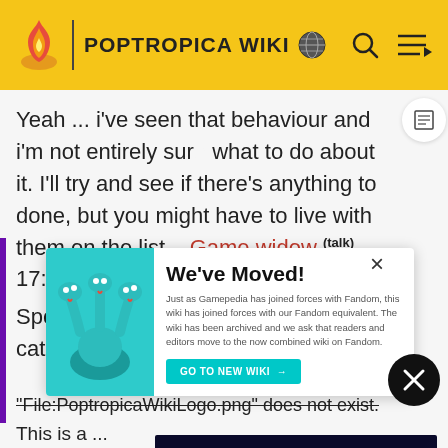POPTROPICA WIKI
Yeah ... i've seen that behaviour and i'm not entirely sure what to do about it. I'll try and see if there's anything to be done, but you might have to live with them on the list – Game widow (talk) 17:30, 28 April 2016 (UTC)
Speaking of which, I keep trying to categorize
[Figure (screenshot): We've Moved! popup banner for Gamepedia/Fandom wiki migration with teal hydra-like creature illustration]
"File:PoptropicaWikiLogo.png" does not exist.
This is a ... story link to a ... found in the d...
[Figure (screenshot): Destiny 2 Lightfall 'Our End Begins' Pre-Order Now advertisement banner]
Upon s... of text appears under the ...